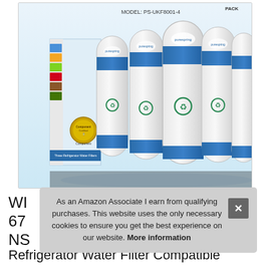[Figure (photo): Product photo of PureSpring refrigerator water filters (4-pack), model PS-UKF8001-4, showing white cylindrical filters with blue bands and a recycling logo, arranged in a box. A gold certification badge is visible on the box front. Box label reads 'Three Refrigerator Water Filters'.]
As an Amazon Associate I earn from qualifying purchases. This website uses the only necessary cookies to ensure you get the best experience on our website. More information
WI 67 NS Refrigerator Water Filter Compatible